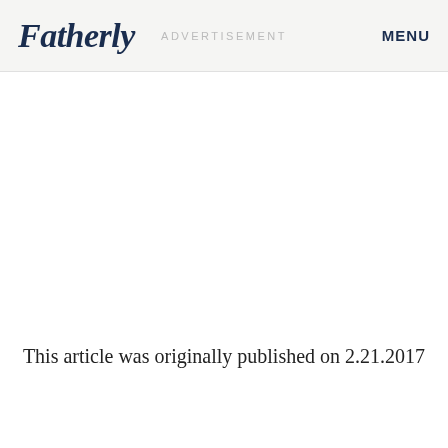Fatherly   ADVERTISEMENT   MENU
This article was originally published on 2.21.2017